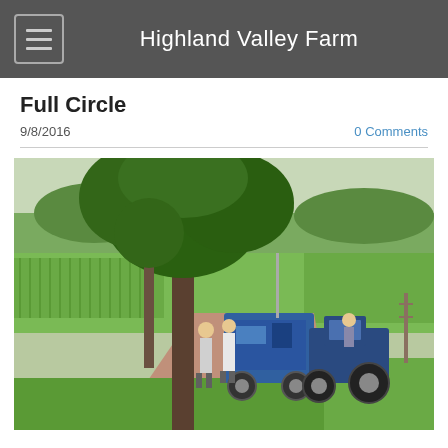Highland Valley Farm
Full Circle
9/8/2016
0 Comments
[Figure (photo): Outdoor farm scene showing people standing near a large blue agricultural machine (transplanter or seeder) being towed by a blue tractor on a reddish dirt path, surrounded by green crop fields and trees.]